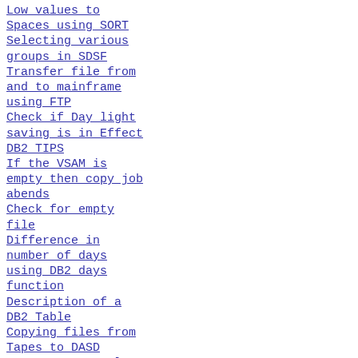Low values to
Spaces using SORT
Selecting various groups in SDSF
Transfer file from and to mainframe using FTP
Check if Day light saving is in Effect
DB2 TIPS
If the VSAM is empty then copy job abends
Check for empty file
Difference in number of days using DB2 days function
Description of a DB2 Table
Copying files from Tapes to DASD
DB2 query to select first or last N rows
JCL to submit particular steps of another JCL using IEBEDIT